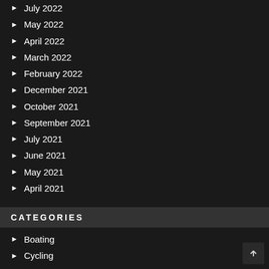July 2022
May 2022
April 2022
March 2022
February 2022
December 2021
October 2021
September 2021
July 2021
June 2021
May 2021
April 2021
CATEGORIES
Boating
Cycling
Diving
eSports
Fantasy Sports
Fitness
Football/Soccer